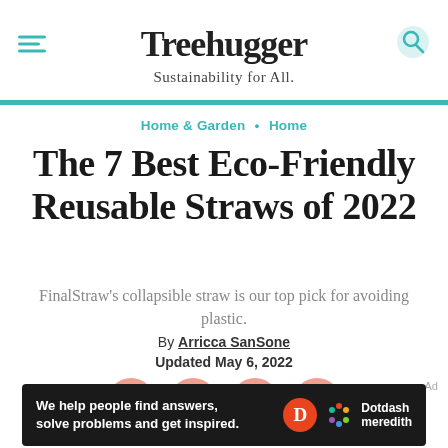Treehugger — Sustainability for All.
Home & Garden • Home
The 7 Best Eco-Friendly Reusable Straws of 2022
FinalStraw's collapsible straw is our top pick for avoiding plastic.
By Arricca SanSone
Updated May 6, 2022
[Figure (infographic): Social share icons: Facebook, Twitter, Pinterest, Email — salmon/coral colored circles]
[Figure (infographic): Ad banner: 'We help people find answers, solve problems and get inspired.' with Dotdash Meredith logo on dark background]